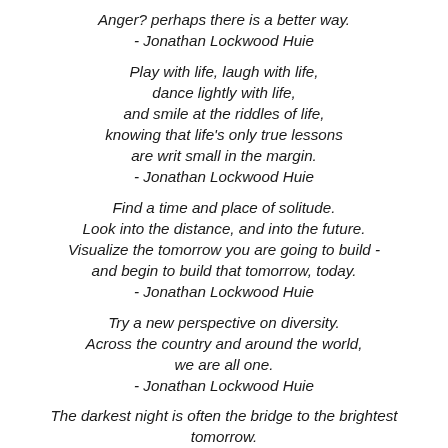Anger? perhaps there is a better way.
- Jonathan Lockwood Huie
Play with life, laugh with life,
dance lightly with life,
and smile at the riddles of life,
knowing that life's only true lessons
are writ small in the margin.
- Jonathan Lockwood Huie
Find a time and place of solitude.
Look into the distance, and into the future.
Visualize the tomorrow you are going to build -
and begin to build that tomorrow, today.
- Jonathan Lockwood Huie
Try a new perspective on diversity.
Across the country and around the world,
we are all one.
- Jonathan Lockwood Huie
The darkest night is often the bridge to the brightest tomorrow.
- Jonathan Lockwood Huie